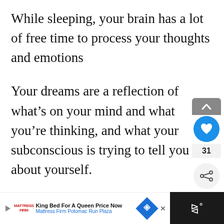While sleeping, your brain has a lot of free time to process your thoughts and emotions
Your dreams are a reflection of what’s on your mind and what you’re thinking, and what your subconscious is trying to tell you about yourself.
Dreams can be a clue into your personality, but they’re also a great predictor of your future
[Figure (screenshot): UI overlay with heart/like button showing count 31, chevron up button, and share button]
[Figure (screenshot): Advertisement bar: Mattress Firm - King Bed For A Queen Price Now, Mattress Firm Potomac Run Plaza, with blue diamond badge and dark right panel]